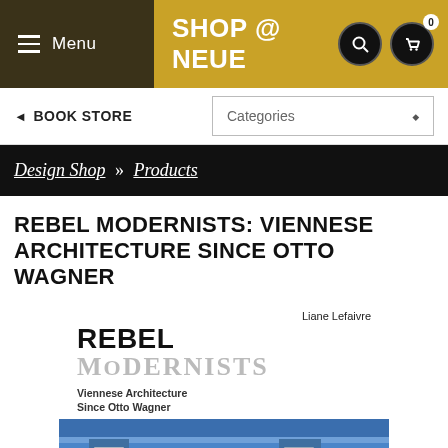Menu | SHOP @ NEUE
◄ BOOK STORE | Categories
Design Shop » Products
REBEL MODERNISTS: VIENNESE ARCHITECTURE SINCE OTTO WAGNER
[Figure (illustration): Book cover of 'Rebel Modernists: Viennese Architecture Since Otto Wagner' by Liane Lefaivre, showing the book title text and a photo of a blue modernist building facade with rectangular windows.]